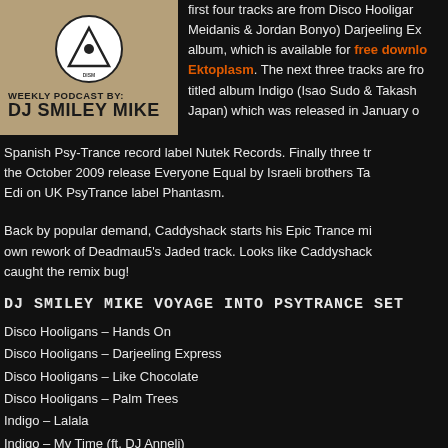[Figure (illustration): DJ Smiley Mike Weekly Podcast logo — tan/khaki background with a circular emblem containing a triangle/eye symbol, text reads WEEKLY PODCAST BY: DJ SMILEY MIKE]
first four tracks are from Disco Hooligans (Nikos Meidanis & Jordan Bonyo) Darjeeling Express album, which is available for free download at Ektoplasm. The next three tracks are from the self-titled album Indigo (Isao Sudo & Takashi from Japan) which was released in January on Spanish Psy-Trance record label Nutek Records. Finally three tracks from the October 2009 release Everyone Equal by Israeli brothers Ta... Edi on UK PsyTrance label Phantasm.
Back by popular demand, Caddyshack starts his Epic Trance mix with his own rework of Deadmau5's Jaded track. Looks like Caddyshack caught the remix bug!
DJ SMILEY MIKE VOYAGE INTO PSYTRANCE SET
Disco Hooligans – Hands On
Disco Hooligans – Darjeeling Express
Disco Hooligans – Like Chocolate
Disco Hooligans – Palm Trees
Indigo – Lalala
Indigo – My Time (ft. DJ Anneli)
Indigo – Moon Walker